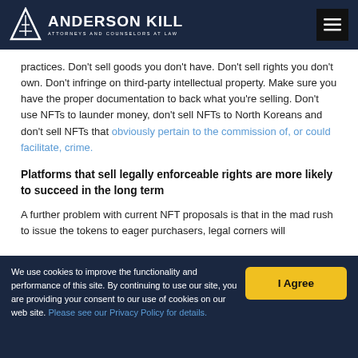Anderson Kill – Attorneys and Counselors at Law
practices. Don't sell goods you don't have. Don't sell rights you don't own. Don't infringe on third-party intellectual property. Make sure you have the proper documentation to back what you're selling. Don't use NFTs to launder money, don't sell NFTs to North Koreans and don't sell NFTs that obviously pertain to the commission of, or could facilitate, crime.
Platforms that sell legally enforceable rights are more likely to succeed in the long term
A further problem with current NFT proposals is that in the mad rush to issue the tokens to eager purchasers, legal corners will
We use cookies to improve the functionality and performance of this site. By continuing to use our site, you are providing your consent to our use of cookies on our web site. Please see our Privacy Policy for details.